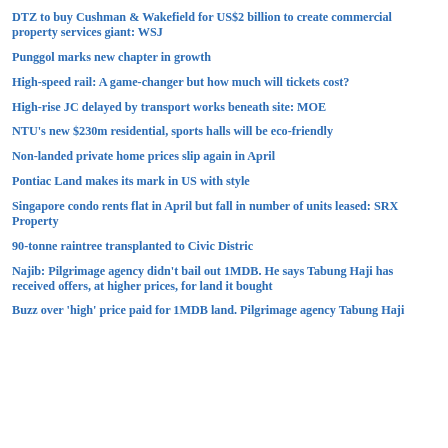DTZ to buy Cushman & Wakefield for US$2 billion to create commercial property services giant: WSJ
Punggol marks new chapter in growth
High-speed rail: A game-changer but how much will tickets cost?
High-rise JC delayed by transport works beneath site: MOE
NTU's new $230m residential, sports halls will be eco-friendly
Non-landed private home prices slip again in April
Pontiac Land makes its mark in US with style
Singapore condo rents flat in April but fall in number of units leased: SRX Property
90-tonne raintree transplanted to Civic Distric
Najib: Pilgrimage agency didn't bail out 1MDB. He says Tabung Haji has received offers, at higher prices, for land it bought
Buzz over 'high' price paid for 1MDB land. Pilgrimage agency Tabung Haji